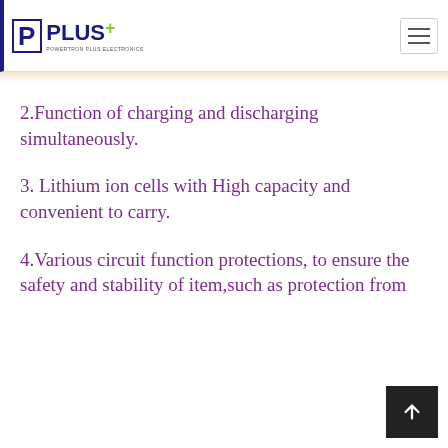PPLUS+ POWERTRON PLUS ELECTRONICS
2.Function of charging and discharging simultaneously.
3. Lithium ion cells with High capacity and convenient to carry.
4.Various circuit function protections, to ensure the safety and stability of item,such as protection from